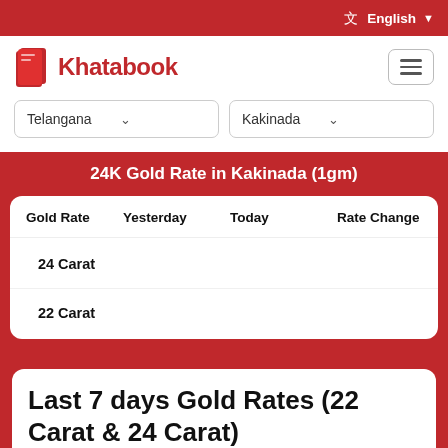English
[Figure (logo): Khatabook logo with red book icon and red text]
Telangana (dropdown)
Kakinada (dropdown)
24K Gold Rate in Kakinada (1gm)
| Gold Rate | Yesterday | Today | Rate Change |
| --- | --- | --- | --- |
| 24 Carat |  |  |  |
| 22 Carat |  |  |  |
Last 7 days Gold Rates (22 Carat & 24 Carat)